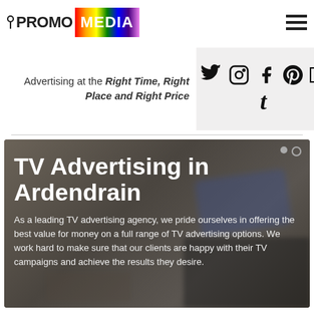[Figure (logo): Promo Media logo with colorful gradient Media box]
[Figure (infographic): Hamburger menu icon (three horizontal lines)]
Advertising at the Right Time, Right Place and Right Price
[Figure (infographic): Social media icons: Twitter, Instagram, Facebook, Pinterest, YouTube, Tumblr]
TV Advertising in Ardendrain
As a leading TV advertising agency, we pride ourselves in offering the best value for money on a full range of TV advertising options. We work hard to make sure that our clients are happy with their TV campaigns and achieve the results they desire.